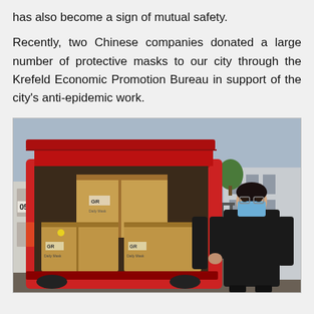has also become a sign of mutual safety.
Recently, two Chinese companies donated a large number of protective masks to our city through the Krefeld Economic Promotion Bureau in support of the city’s anti-epidemic work.
[Figure (photo): A woman wearing a blue medical face mask and black clothing stands next to the open trunk of a red van. The trunk contains several cardboard boxes labeled with 'GR' and 'Daily Mask'. The setting appears to be an industrial or commercial area outdoors.]